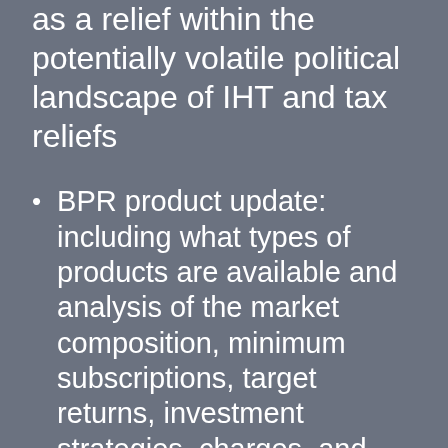as a relief within the potentially volatile political landscape of IHT and tax reliefs
BPR product update: including what types of products are available and analysis of the market composition, minimum subscriptions, target returns, investment strategies, charges, and recent industry developments
Data on key investment metrics such as charges, liquidity and returns